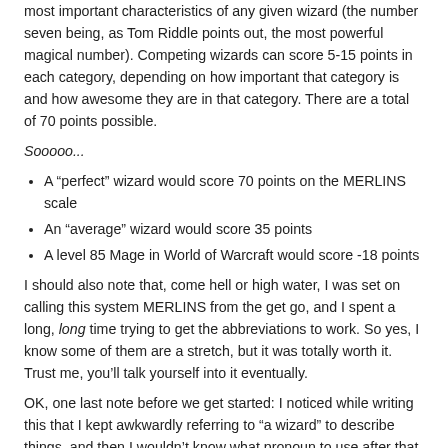most important characteristics of any given wizard (the number seven being, as Tom Riddle points out, the most powerful magical number). Competing wizards can score 5-15 points in each category, depending on how important that category is and how awesome they are in that category. There are a total of 70 points possible.
Sooooo...
A “perfect” wizard would score 70 points on the MERLINS scale
An “average” wizard would score 35 points
A level 85 Mage in World of Warcraft would score -18 points
I should also note that, come hell or high water, I was set on calling this system MERLINS from the get go, and I spent a long, long time trying to get the abbreviations to work. So yes, I know some of them are a stretch, but it was totally worth it. Trust me, you’ll talk yourself into it eventually.
OK, one last note before we get started: I noticed while writing this that I kept awkwardly referring to “a wizard” to describe things, and then I wouldn’t know what pronoun to use after that (because, as I noted in the last piece, wizards can be female). This led me to write sentences like, “If a wizard is hungry, then a wizard could conjure up a delicious Subway chicken breast on hot and toasty flatbread to enjoy while on a wizard’s picnic.”